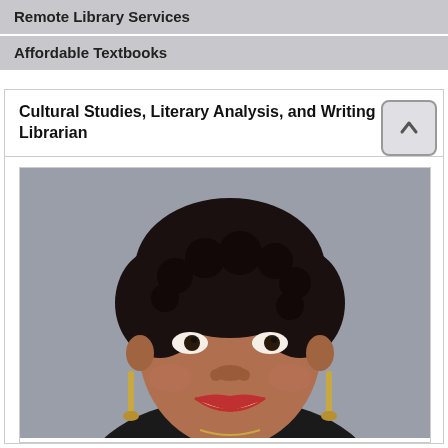Remote Library Services
Affordable Textbooks
Cultural Studies, Literary Analysis, and Writing Librarian
[Figure (photo): Professional headshot of a woman with short curly dark hair, smiling, wearing gold earrings and a dark top, against a grey background.]